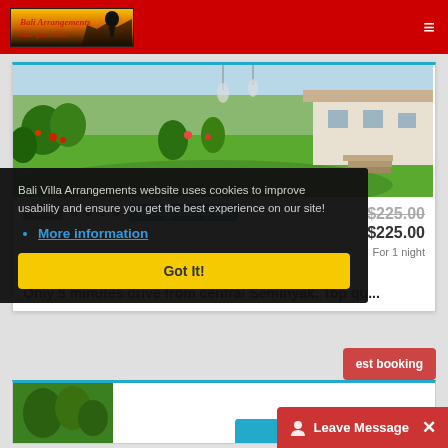Bali Arrangements
[Figure (photo): Villa garden photo showing green lawn, tropical plants, and building with steps in background]
Villas ★★★★ Average Rating: 0.0  $225.00  $225.00  For 1 night
umalas, Bali, Indonesia
Only 5 minutes drive from central Seminyak. Top qu...
Bali Villa Arrangements website uses cookies to improve usability and ensure you get the best experience on our site!
More information
Got It!